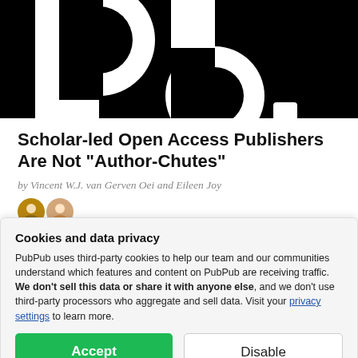[Figure (logo): PubPub platform logo — large white 'Pb' letters on black background]
Scholar-led Open Access Publishers Are Not "Author-Chutes"
by Vincent W.J. van Gerven Oei and Eileen Joy
[Figure (photo): Two small circular author avatar photos]
Published: Aug 03, 2020
Cookies and data privacy
PubPub uses third-party cookies to help our team and our communities understand which features and content on PubPub are receiving traffic. We don't sell this data or share it with anyone else, and we don't use third-party processors who aggregate and sell data. Visit your privacy settings to learn more.
[Figure (photo): Partial image visible at the very bottom of the page, appears to be a person or scene photo]